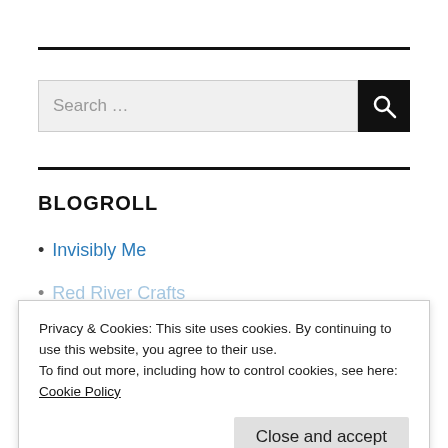[Figure (other): Search bar with text field showing 'Search ...' and a dark search button with magnifying glass icon]
BLOGROLL
Invisibly Me
The Classics Club
Privacy & Cookies: This site uses cookies. By continuing to use this website, you agree to their use.
To find out more, including how to control cookies, see here:
Cookie Policy
Close and accept